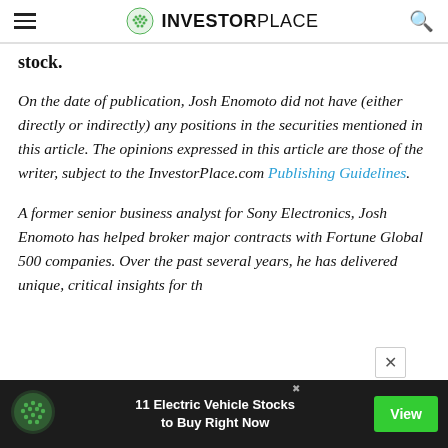INVESTORPLACE
stock.
On the date of publication, Josh Enomoto did not have (either directly or indirectly) any positions in the securities mentioned in this article. The opinions expressed in this article are those of the writer, subject to the InvestorPlace.com Publishing Guidelines.
A former senior business analyst for Sony Electronics, Josh Enomoto has helped broker major contracts with Fortune Global 500 companies. Over the past several years, he has delivered unique, critical insights for th
[Figure (screenshot): Advertisement banner: InvestorPlace logo, '11 Electric Vehicle Stocks to Buy Right Now', green View button]